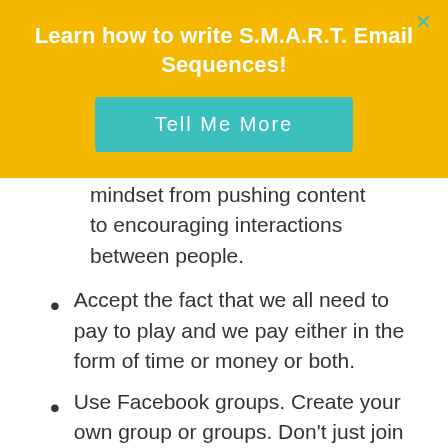Learn how to write S.M.A.R.T. Email Sequences!
Tell Me More
mindset from pushing content to encouraging interactions between people.
Accept the fact that we all need to pay to play and we pay either in the form of time or money or both.
Use Facebook groups. Create your own group or groups. Don't just join but interact.